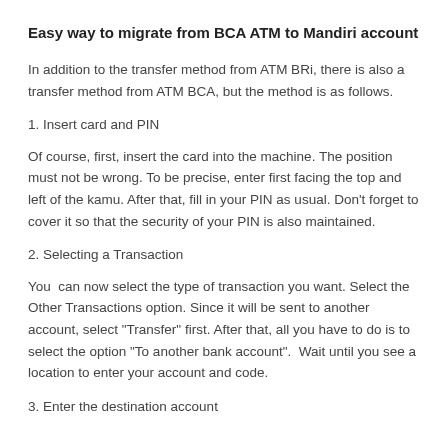Easy way to migrate from BCA ATM to Mandiri account
In addition to the transfer method from ATM BRi, there is also a transfer method from ATM BCA, but the method is as follows.
1. Insert card and PIN
Of course, first, insert the card into the machine. The position must not be wrong. To be precise, enter first facing the top and left of the kamu. After that, fill in your PIN as usual. Don’t forget to cover it so that the security of your PIN is also maintained.
2. Selecting a Transaction
You  can now select the type of transaction you want. Select the Other Transactions option. Since it will be sent to another account, select “Transfer” first. After that, all you have to do is to select the option “To another bank account”.  Wait until you see a location to enter your account and code.
3. Enter the destination account